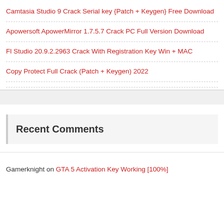Camtasia Studio 9 Crack Serial key {Patch + Keygen} Free Download
Apowersoft ApowerMirror 1.7.5.7 Crack PC Full Version Download
Fl Studio 20.9.2.2963 Crack With Registration Key Win + MAC
Copy Protect Full Crack (Patch + Keygen) 2022
Recent Comments
Gamerknight on GTA 5 Activation Key Working [100%]